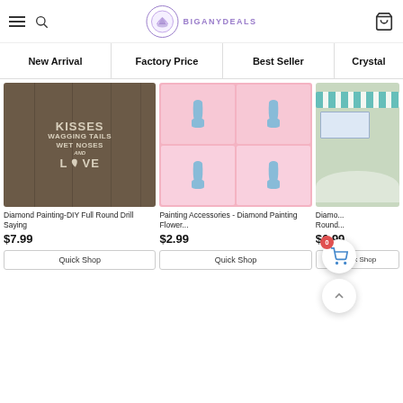BIGANYDEALS
New Arrival
Factory Price
Best Seller
Crystal
[Figure (photo): Diamond Painting-DIY Full Round Drill Saying - wooden sign with text KISSES WAGGING TAILS WET NOSES AND LOVE with paw print]
Diamond Painting-DIY Full Round Drill Saying
$7.99
Quick Shop
[Figure (photo): Painting Accessories - Diamond Painting Flower accessories with blue vases on pink background]
Painting Accessories - Diamond Painting Flower...
$2.99
Quick Shop
[Figure (photo): Diamond painting partial image - building/house scene partially shown]
Diamo... Round...
$6.99
Quick Shop